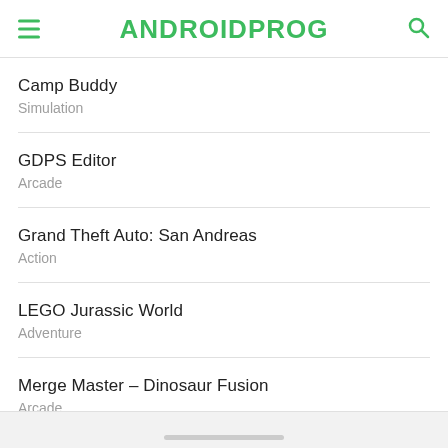ANDROIDPROG
Camp Buddy
Simulation
GDPS Editor
Arcade
Grand Theft Auto: San Andreas
Action
LEGO Jurassic World
Adventure
Merge Master – Dinosaur Fusion
Arcade